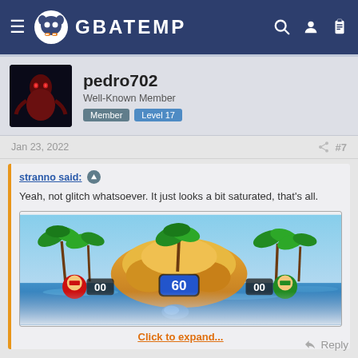GBATEMP
pedro702
Well-Known Member
Member  Level 17
Jan 23, 2022  #7
stranno said: ↑
Yeah, not glitch whatsoever. It just looks a bit saturated, that's all.
Click to expand...
[Figure (screenshot): Mario Party Wii gameplay screenshot showing an island stage with Mario and Luigi character icons, score counters showing 00, and a 60-second timer in the center]
that is probably his tv settings and brightness tough.
Reply